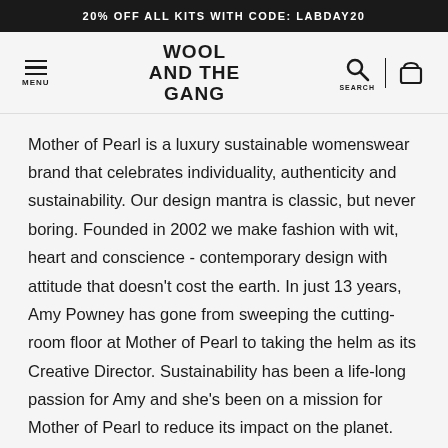20% OFF ALL KITS WITH CODE: LABDAY20
[Figure (logo): Wool and the Gang logo with hamburger menu icon, search icon, and bag icon in navigation bar]
Mother of Pearl is a luxury sustainable womenswear brand that celebrates individuality, authenticity and sustainability. Our design mantra is classic, but never boring. Founded in 2002 we make fashion with wit, heart and conscience - contemporary design with attitude that doesn't cost the earth. In just 13 years, Amy Powney has gone from sweeping the cutting-room floor at Mother of Pearl to taking the helm as its Creative Director. Sustainability has been a life-long passion for Amy and she's been on a mission for Mother of Pearl to reduce its impact on the planet.
Size